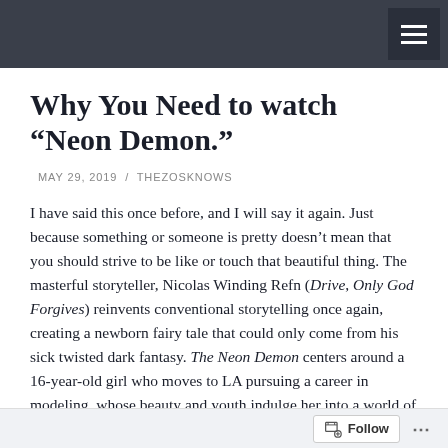Why You Need to watch “Neon Demon.”
MAY 29, 2019 / THEZOSKNOWS
I have said this once before, and I will say it again. Just because something or someone is pretty doesn't mean that you should strive to be like or touch that beautiful thing. The masterful storyteller, Nicolas Winding Refn (Drive, Only God Forgives) reinvents conventional storytelling once again, creating a newborn fairy tale that could only come from his sick twisted dark fantasy. The Neon Demon centers around a 16-year-old girl who moves to LA pursuing a career in modeling, whose beauty and youth indulge her into a world of hurt
Follow ...